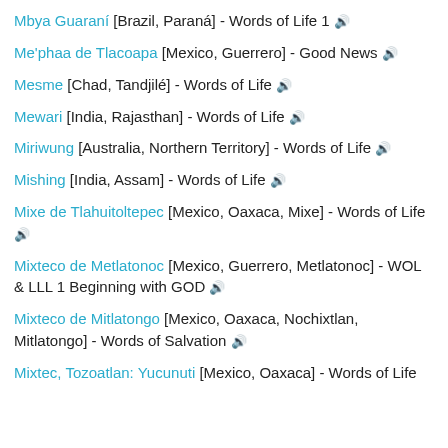Mbya Guaraní [Brazil, Paraná] - Words of Life 🔊
Me'phaa de Tlacoapa [Mexico, Guerrero] - Good News 🔊
Mesme [Chad, Tandjilé] - Words of Life 🔊
Mewari [India, Rajasthan] - Words of Life 🔊
Miriwung [Australia, Northern Territory] - Words of Life 🔊
Mishing [India, Assam] - Words of Life 🔊
Mixe de Tlahuitoltepec [Mexico, Oaxaca, Mixe] - Words of Life 🔊
Mixteco de Metlatonoc [Mexico, Guerrero, Metlatonoc] - WOL & LLL 1 Beginning with GOD 🔊
Mixteco de Mitlatongo [Mexico, Oaxaca, Nochixtlan, Mitlatongo] - Words of Salvation 🔊
Mixtec, Tozoatlan: Yucunuti [Mexico, Oaxaca] - Words of Life 🔊